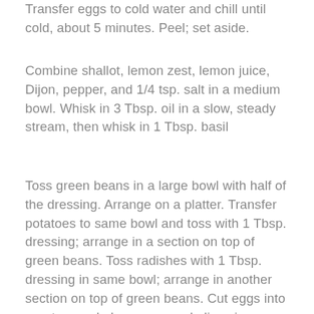Transfer eggs to cold water and chill until cold, about 5 minutes. Peel; set aside.
Combine shallot, lemon zest, lemon juice, Dijon, pepper, and 1/4 tsp. salt in a medium bowl. Whisk in 3 Tbsp. oil in a slow, steady stream, then whisk in 1 Tbsp. basil
Toss green beans in a large bowl with half of the dressing. Arrange on a platter. Transfer potatoes to same bowl and toss with 1 Tbsp. dressing; arrange in a section on top of green beans. Toss radishes with 1 Tbsp. dressing in same bowl; arrange in another section on top of green beans. Cut eggs into quarters and place eggs and olives in sections on top of green beans, letting some beans show through. top from every bean and d